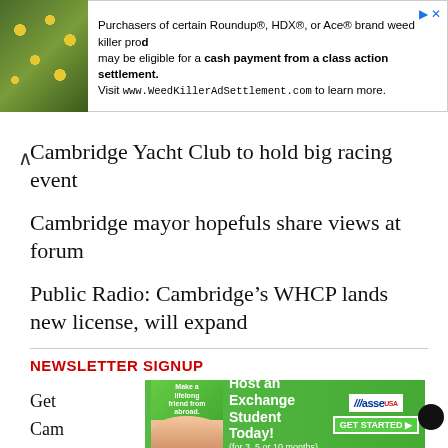[Figure (infographic): Advertisement banner: image of yellow flowers on green leaves on left, text about Roundup/HDX/Ace weed killer class action settlement on right with close button]
Cambridge Yacht Club to hold big racing event
Cambridge mayor hopefuls share views at forum
Public Radio: Cambridge's WHCP lands new license, will expand
NEWSLETTER SIGNUP
[Figure (infographic): Dorchester Banner Weekly Headlines newsletter signup box with logo and bold text]
Get ... news in Cam...
[Figure (infographic): Bottom advertisement: Host an Exchange Student Today! (for 3, 5 or 10 months) with ASSE logo and GET STARTED button, person photo overlay]